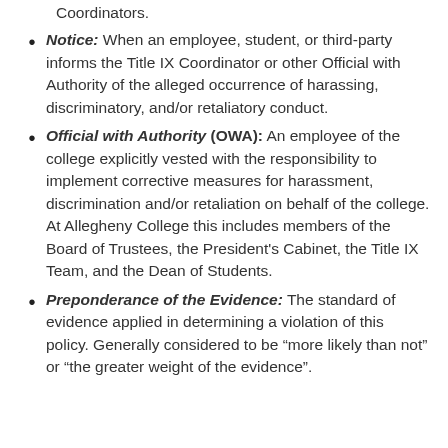Coordinators.
Notice: When an employee, student, or third-party informs the Title IX Coordinator or other Official with Authority of the alleged occurrence of harassing, discriminatory, and/or retaliatory conduct.
Official with Authority (OWA): An employee of the college explicitly vested with the responsibility to implement corrective measures for harassment, discrimination and/or retaliation on behalf of the college. At Allegheny College this includes members of the Board of Trustees, the President's Cabinet, the Title IX Team, and the Dean of Students.
Preponderance of the Evidence: The standard of evidence applied in determining a violation of this policy. Generally considered to be “more likely than not” or “the greater weight of the evidence”.